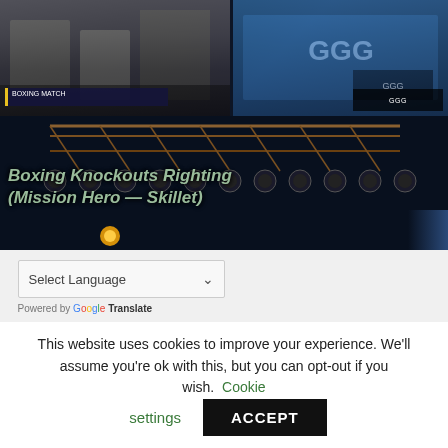[Figure (screenshot): A dark-themed webpage showing boxing/sports video thumbnails at the top (left: a boxing match clip with referee, right: a boxing/GGG fight clip with scoreboard overlay), overlaid with stage/concert lighting equipment in dark blue-black tones. Text overlay reads 'Boxing Knockouts Righting (Mission Hero — Skillet)' in green. Below the stage image, a Google Translate language selector bar appears partially visible.]
Boxing Knockouts Righting (Mission Hero — Skillet)
Select Language
Powered by Google Translate
This website uses cookies to improve your experience. We'll assume you're ok with this, but you can opt-out if you wish. Cookie settings ACCEPT